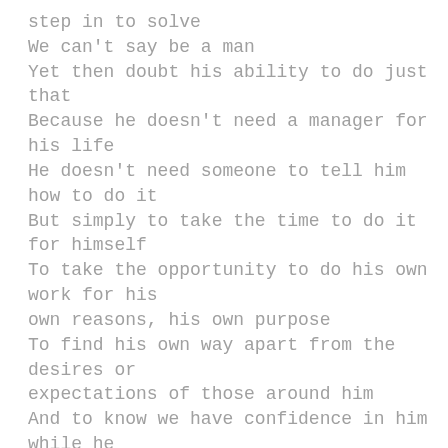step in to solve
We can't say be a man
Yet then doubt his ability to do just that
Because he doesn't need a manager for his life
He doesn't need someone to tell him how to do it
But simply to take the time to do it for himself
To take the opportunity to do his own work for his own reasons, his own purpose
To find his own way apart from the desires or expectations of those around him
And to know we have confidence in him while he does just that
Regardless of where it may lead
Yet to step in and try to fix or solve
Is to take away his divine masculinity
His personal essence
And while we should always be his peace